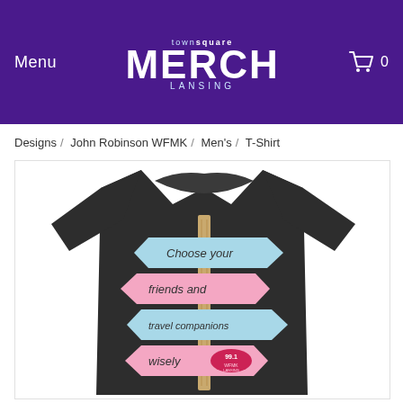Menu  townsquare MERCH LANSING  🛒 0
Designs / John Robinson WFMK / Men's / T-Shirt
[Figure (photo): A dark charcoal t-shirt displayed on a white background. The t-shirt has a graphic of a wooden signpost with four directional arrow signs stacked on it. The signs read: 'Choose your' (blue, pointing right), 'friends and' (pink, pointing left), 'travel companions' (blue, pointing right), 'wisely' (pink, pointing left, with a 99.1 WFMK Lansing radio station logo badge).]